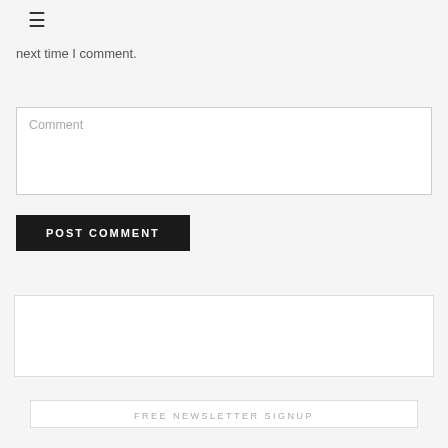[Figure (other): Hamburger menu icon (three horizontal lines)]
next time I comment.
Comment (placeholder text in textarea)
POST COMMENT
[Figure (other): Advertisement box (empty white box with border)]
FREE NEWSLETTER SIGNUP